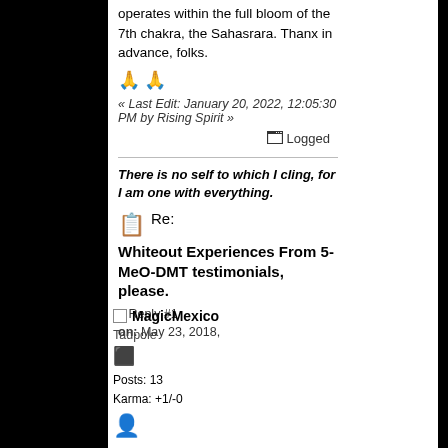operates within the full bloom of the 7th chakra, the Sahasrara. Thanx in advance, folks. 🙏 🙏
« Last Edit: January 20, 2022, 12:05:30 PM by Rising Spirit »
Logged
There is no self to which I cling, for I am one with everything.
Re: Whiteout Experiences From 5-MeO-DMT testimonials, please.
« Reply #1 on: May 23, 2018,
MagicMexico
Tadpole
Posts: 13
Karma: +1/-0